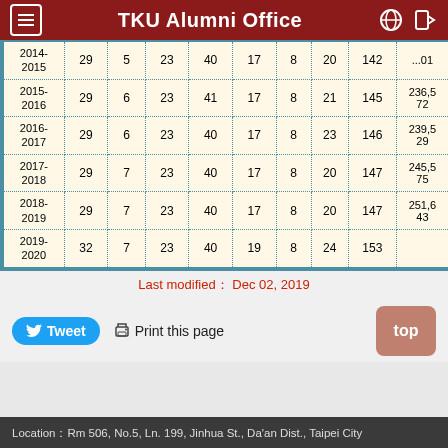TKU Alumni Office
| Year | c1 | c2 | c3 | c4 | c5 | c6 | c7 | c8 | Total |
| --- | --- | --- | --- | --- | --- | --- | --- | --- | --- |
| 2014-2015 | 29 | 5 | 23 | 40 | 17 | 8 | 20 | 142 | ...01 |
| 2015-2016 | 29 | 6 | 23 | 41 | 17 | 8 | 21 | 145 | 236,572 |
| 2016-2017 | 29 | 6 | 23 | 40 | 17 | 8 | 23 | 146 | 239,529 |
| 2017-2018 | 29 | 7 | 23 | 40 | 17 | 8 | 20 | 147 | 245,575 |
| 2018-2019 | 29 | 7 | 23 | 40 | 17 | 8 | 20 | 147 | 251,643 |
| 2019-2020 | 32 | 7 | 23 | 40 | 19 | 8 | 24 | 153 |  |
Last modified： Dec 02, 2019
Tweet  Print this page
Location：Rm 506, No.5, Ln. 199, Jinhua St., Da'an Dist., Taipei City